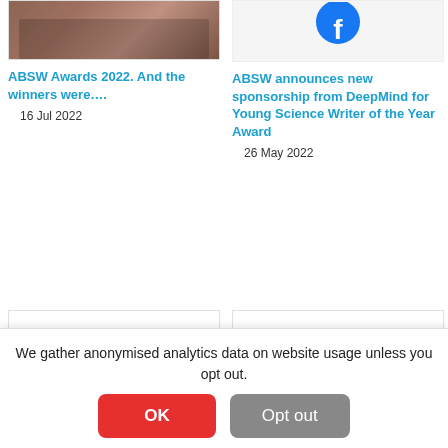[Figure (photo): Group of people holding certificates, ABSW Awards 2022]
[Figure (logo): Partial social media logo (blue circle/Facebook or similar)]
ABSW Awards 2022. And the winners were….
16 Jul 2022
ABSW announces new sponsorship from DeepMind for Young Science Writer of the Year Award
26 May 2022
[Figure (photo): Two people in a studio setting, one being filmed with a camera light]
[Figure (logo): Fulbright logo with American flag design]
We gather anonymised analytics data on website usage unless you opt out.